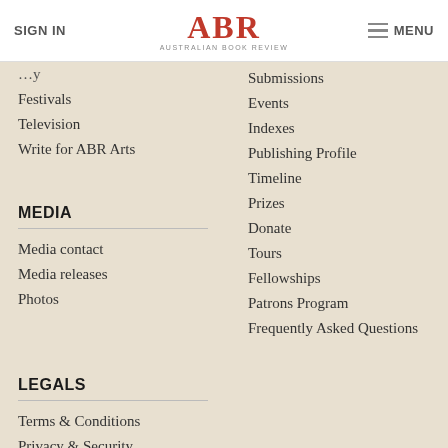SIGN IN | ABR Australian Book Review | MENU
[partial item]
Festivals
Television
Write for ABR Arts
MEDIA
Media contact
Media releases
Photos
LEGALS
Terms & Conditions
Privacy & Security
Submissions
Events
Indexes
Publishing Profile
Timeline
Prizes
Donate
Tours
Fellowships
Patrons Program
Frequently Asked Questions